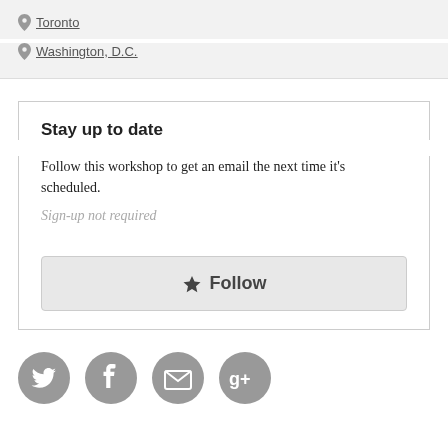Toronto
Washington, D.C.
Stay up to date
Follow this workshop to get an email the next time it's scheduled.
Sign-up not required
★ Follow
[Figure (infographic): Row of four circular gray social media icons: Twitter bird, Facebook f, Email envelope, Google+ g+]